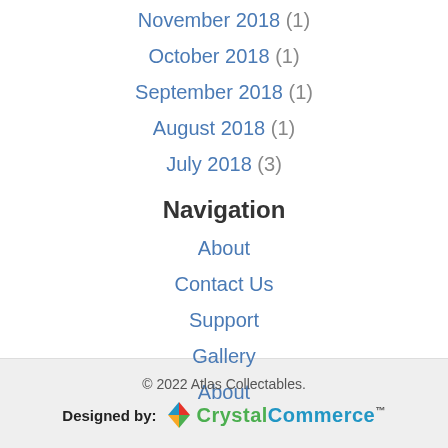November 2018 (1)
October 2018 (1)
September 2018 (1)
August 2018 (1)
July 2018 (3)
Navigation
About
Contact Us
Support
Gallery
About
© 2022 Atlas Collectables.
Designed by: CrystalCommerce